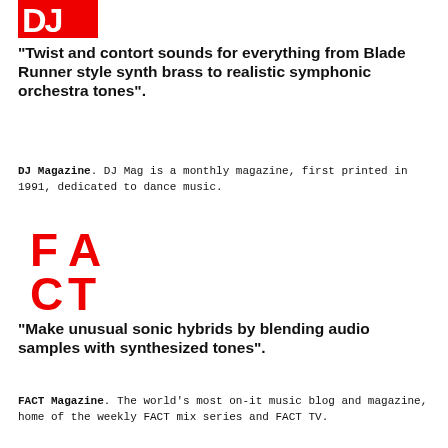[Figure (logo): DJ Magazine logo — red letters DJ on red background]
"Twist and contort sounds for everything from Blade Runner style synth brass to realistic symphonic orchestra tones".
DJ Magazine. DJ Mag is a monthly magazine, first printed in 1991, dedicated to dance music.
[Figure (logo): FACT Magazine logo — red block letters F, A on top row, C, T on bottom row]
"Make unusual sonic hybrids by blending audio samples with synthesized tones".
FACT Magazine. The world's most on-it music blog and magazine, home of the weekly FACT mix series and FACT TV.